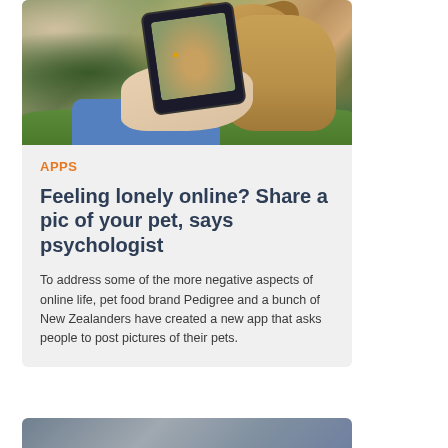[Figure (photo): A person holding a smartphone photographing a dog outdoors on grass. The phone screen shows the dog being photographed. The person is wearing a blue sleeve.]
APPS
Feeling lonely online? Share a pic of your pet, says psychologist
To address some of the more negative aspects of online life, pet food brand Pedigree and a bunch of New Zealanders have created a new app that asks people to post pictures of their pets.
[Figure (photo): Partial view of a second article card at the bottom, showing part of a photo.]